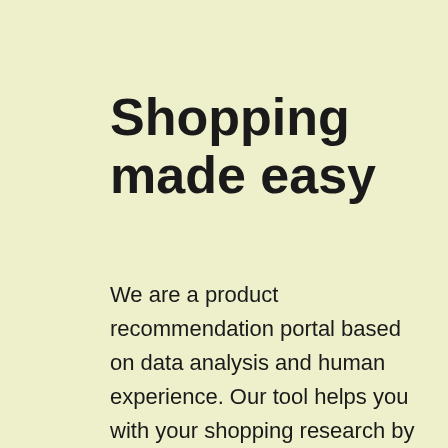Shopping made easy
We are a product recommendation portal based on data analysis and human experience. Our tool helps you with your shopping research by recommending a list of the best products from any category. Our state-of-the-art product research tool is